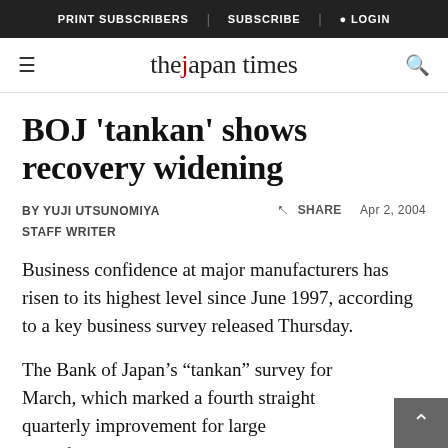PRINT SUBSCRIBERS | SUBSCRIBE | LOGIN
the japan times
BOJ 'tankan' shows recovery widening
BY YUJI UTSUNOMIYA
STAFF WRITER
SHARE   Apr 2, 2004
Business confidence at major manufacturers has risen to its highest level since June 1997, according to a key business survey released Thursday.
The Bank of Japan’s “tankan” survey for March, which marked a fourth straight quarterly improvement for large manufacturers, also sho…